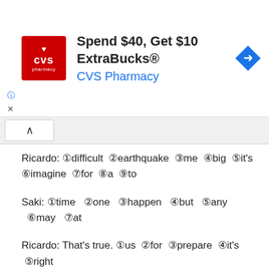[Figure (other): CVS Pharmacy advertisement banner: 'Spend $40, Get $10 ExtraBucks® CVS Pharmacy' with CVS logo and navigation arrow icon]
Ricardo: ①difficult ②earthquake ③me ④big ⑤it's ⑥imagine ⑦for ⑧a ⑨to
Saki: ①time ②one ③happen ④but ⑤any ⑥may ⑦at
Ricardo: That's true. ①us ②for ③prepare ④it's ⑤right ⑥necessary ⑦to ⑧disasters, ⑨for ⑩so
Saki: Yes. ①think ②keep ③and ④to ⑤important ⑥I ⑦it's ⑧mind ⑨in ⑩the past